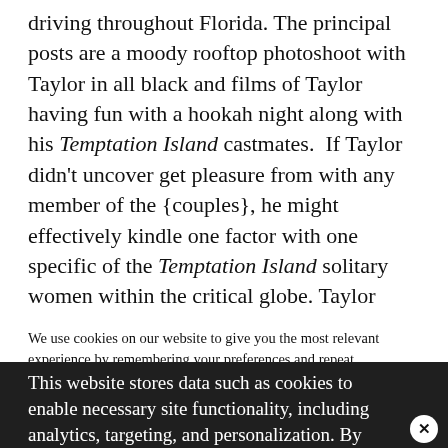driving throughout Florida. The principal posts are a moody rooftop photoshoot with Taylor in all black and films of Taylor having fun with a hookah night along with his Temptation Island castmates.  If Taylor didn't uncover get pleasure from with any member of the {couples}, he might effectively kindle one factor with one specific of the Temptation Island solitary women within the critical globe. Taylor additionally posted a photograph in entrance of a
We use cookies on our website to give you the most relevant experience by remembering your preferences and repeat visits. By clicking "Accept All", you consent to the use of ALL the cookies. However, you may visit "Cookie Settings" to provide a controlled consent.
This website stores data such as cookies to enable necessary site functionality, including analytics, targeting, and personalization. By remaining on this website you indicate your consent Cookie Policy